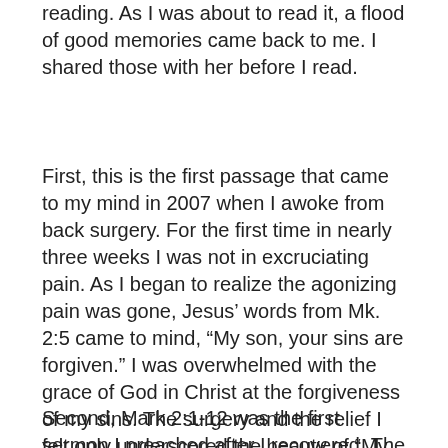reading. As I was about to read it, a flood of good memories came back to me. I shared those with her before I read.
First, this is the first passage that came to my mind in 2007 when I awoke from back surgery. For the first time in nearly three weeks I was not in excruciating pain. As I began to realize the agonizing pain was gone, Jesus' words from Mk. 2:5 came to mind, “My son, your sins are forgiven.” I was overwhelmed with the grace of God in Christ at the forgiveness of my sins. The surgery and the relief I felt only underscored the beauty of “My son, your sins are forgiven.”
Second, Mark 2:1-12 was the first sermon I preached after I recovered. The themes were